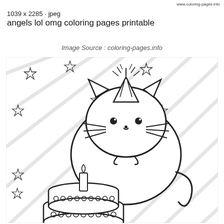www.coloring-pages.info
1039 x 2285 · jpeg
angels lol omg coloring pages printable
Image Source : coloring-pages.info
[Figure (illustration): Pusheen cat birthday coloring page: a cute chubby cartoon cat wearing a party hat with a lit sparkler on top, sitting in front of a two-tiered birthday cake with a candle. Background has diagonal stripes and outline stars scattered around.]